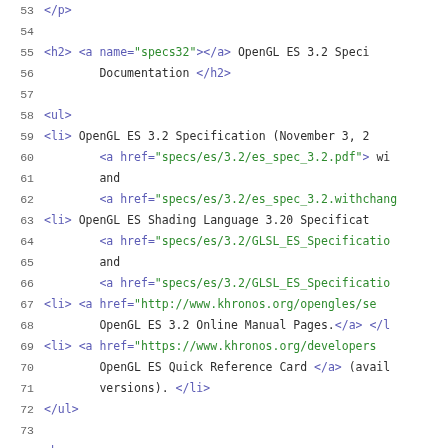Code snippet showing HTML source lines 53-74 of an OpenGL ES 3.2 specification documentation page
Line 53: </p>
Line 54: (blank)
Line 55: <h2> <a name="specs32"></a> OpenGL ES 3.2 Speci
Line 56:     Documentation </h2>
Line 57: (blank)
Line 58: <ul>
Line 59: <li> OpenGL ES 3.2 Specification (November 3, 2
Line 60:     <a href="specs/es/3.2/es_spec_3.2.pdf"> wi
Line 61:     and
Line 62:     <a href="specs/es/3.2/es_spec_3.2.withchang
Line 63: <li> OpenGL ES Shading Language 3.20 Specificat
Line 64:     <a href="specs/es/3.2/GLSL_ES_Specificatio
Line 65:     and
Line 66:     <a href="specs/es/3.2/GLSL_ES_Specificatio
Line 67: <li> <a href="http://www.khronos.org/opengles/se
Line 68:     OpenGL ES 3.2 Online Manual Pages.</a> </l
Line 69: <li> <a href="https://www.khronos.org/developers
Line 70:     OpenGL ES Quick Reference Card </a> (avail
Line 71:     versions). </li>
Line 72: </ul>
Line 73: (blank)
Line 74: <h (truncated)